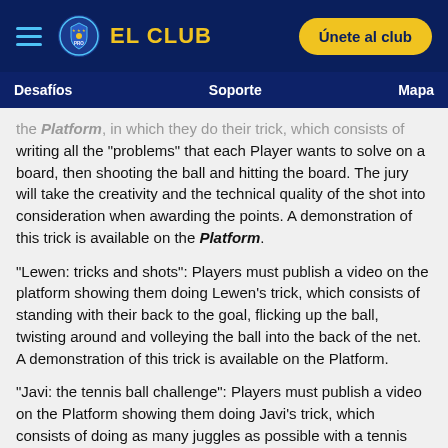EL CLUB — Únete al club
Desafíos   Soporte   Mapa
the Platform, in which they do their trick, which consists of writing all the "problems" that each Player wants to solve on a board, then shooting the ball and hitting the board. The jury will take the creativity and the technical quality of the shot into consideration when awarding the points. A demonstration of this trick is available on the Platform.
"Lewen: tricks and shots": Players must publish a video on the platform showing them doing Lewen's trick, which consists of standing with their back to the goal, flicking up the ball, twisting around and volleying the ball into the back of the net. A demonstration of this trick is available on the Platform.
"Javi: the tennis ball challenge": Players must publish a video on the Platform showing them doing Javi's trick, which consists of doing as many juggles as possible with a tennis ball in 15 seconds. A demonstration of this technical trick is available on the Platform.